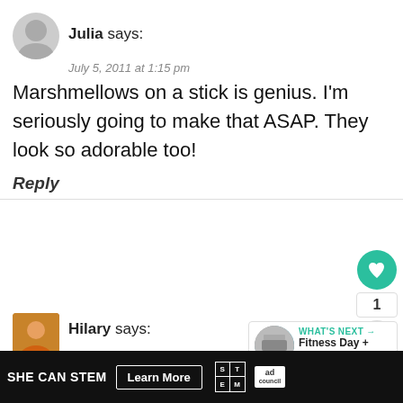Julia says:
July 5, 2011 at 1:15 pm
Marshmellows on a stick is genius. I'm seriously going to make that ASAP. They look so adorable too!
Reply
[Figure (illustration): Heart/like button (teal circle with heart icon), share count of 1, and share button]
[Figure (photo): Small thumbnail photo of Hilary]
Hilary says:
July 5, 2011 at 1:15 pm
Looks super-fun indeed! I can't wait til heirloom tomatoes are ripe so I can try stuff with 'em.
[Figure (infographic): What's Next box: Fitness Day + An Easy...]
[Figure (infographic): Ad bar: SHE CAN STEM Learn More with STEM and Ad Council logos]